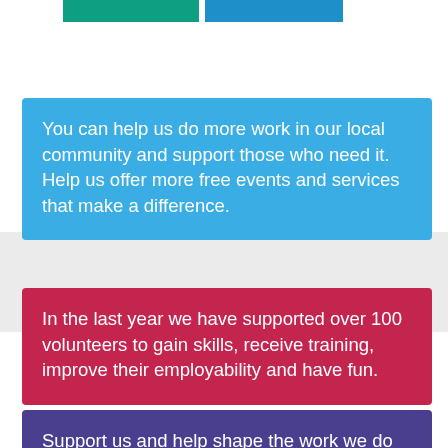[Figure (other): Two colored buttons at top: teal/green and blue]
You can help us do more work in our local community and support those who need it. Help us offer more free events and services that make a difference.
In the last year we have supported over 100 volunteers to gain skills, receive training, improve their employability and have fun.
Support us and help shape the work we do by becoming a member. Our members play a key